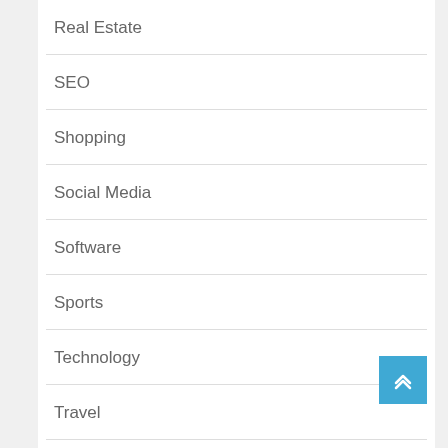Real Estate
SEO
Shopping
Social Media
Software
Sports
Technology
Travel
Web Design